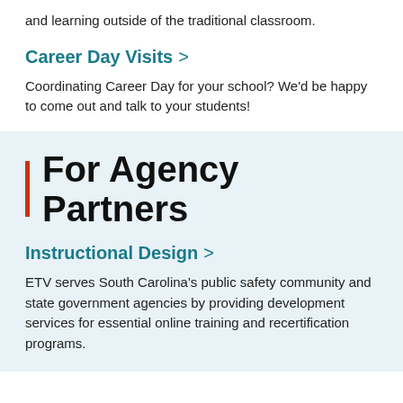and learning outside of the traditional classroom.
Career Day Visits >
Coordinating Career Day for your school? We'd be happy to come out and talk to your students!
For Agency Partners
Instructional Design >
ETV serves South Carolina's public safety community and state government agencies by providing development services for essential online training and recertification programs.